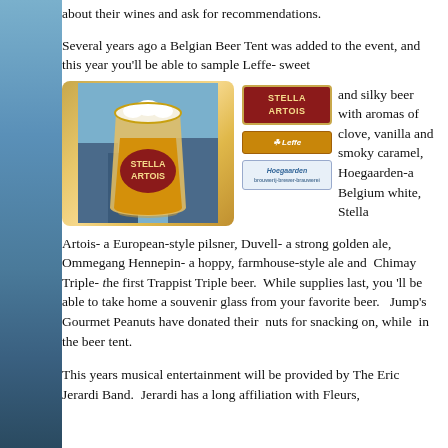about their wines and ask for recommendations.
Several years ago a Belgian Beer Tent was added to the event, and this year you'll be able to sample Leffe- sweet and silky beer with aromas of clove, vanilla and smoky caramel, Hoegaarden-a Belgium white, Stella Artois- a European-style pilsner, Duvell- a strong golden ale, Ommegang Hennepin- a hoppy, farmhouse-style ale and Chimay Triple- the first Trappist Triple beer. While supplies last, you 'll be able to take home a souvenir glass from your favorite beer. Jump's Gourmet Peanuts have donated their nuts for snacking on, while in the beer tent.
[Figure (photo): Stella Artois beer glass with golden lager, alongside logos for Stella Artois, Leffe, and Hoegaarden Belgian beers]
This years musical entertainment will be provided by The Eric Jerardi Band. Jerardi has a long affiliation with Fleurs,